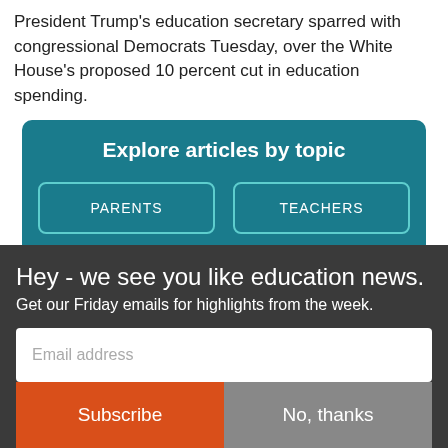President Trump's education secretary sparred with congressional Democrats Tuesday, over the White House's proposed 10 percent cut in education spending.
[Figure (infographic): Explore articles by topic box with teal background showing four topic buttons: PARENTS, TEACHERS, TAXPAYERS, NEWCOMERS in a 2x2 grid]
Hey - we see you like education news. Get our Friday emails for highlights from the week.
Email address
Subscribe
No, thanks